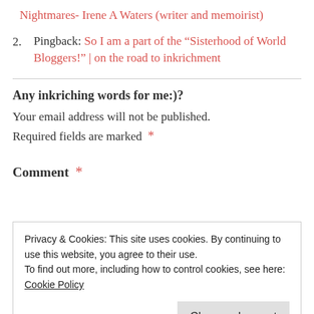Nightmares- Irene A Waters (writer and memoirist)
2. Pingback: So I am a part of the “Sisterhood of World Bloggers!” | on the road to inkrichment
Any inkriching words for me:)?
Your email address will not be published.
Required fields are marked *
Comment *
Privacy & Cookies: This site uses cookies. By continuing to use this website, you agree to their use. To find out more, including how to control cookies, see here: Cookie Policy
Close and accept